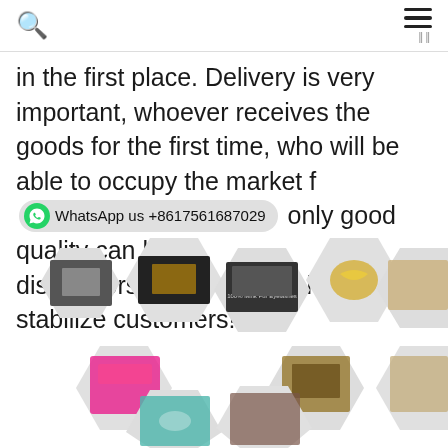Search | Menu
in the first place. Delivery is very important, whoever receives the goods for the first time, who will be able to occupy the market f… WhatsApp us +8617561687029 only good quality can help distributors/agent/wholesales/dealers stabilize customers!
[Figure (photo): Grid of hexagonal product images showing various eyelash packaging boxes and cases including mink fur eyelashes packaging in different styles and colors (black, pink, teal, gold, brown).]